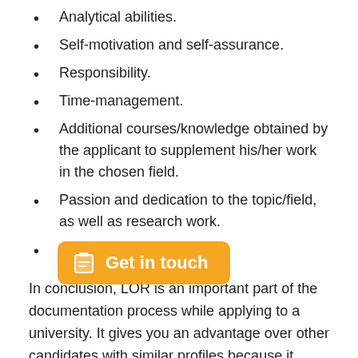Analytical abilities.
Self-motivation and self-assurance.
Responsibility.
Time-management.
Additional courses/knowledge obtained by the applicant to supplement his/her work in the chosen field.
Passion and dedication to the topic/field, as well as research work.
Research abilities.
In conclusion, LOR is an important part of the documentation process while applying to a university. It gives you an advantage over other candidates with similar profiles because it elevates all of th[…]onal excellence you've already m[…]ocuments. As a result, a recommendation letter for a PhD becomes a stage in which the
[Figure (other): Orange 'Get in touch' button with clipboard icon overlay on text]